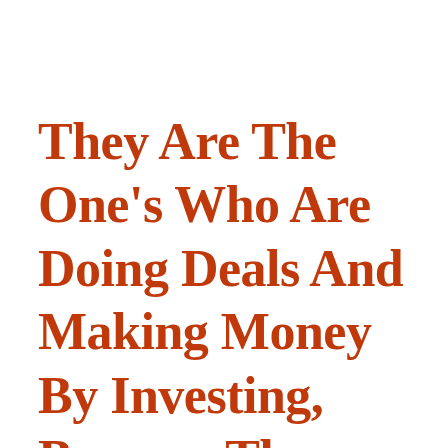They Are The One's Who Are Doing Deals And Making Money By Investing, Because They Have A Large Network Of Business